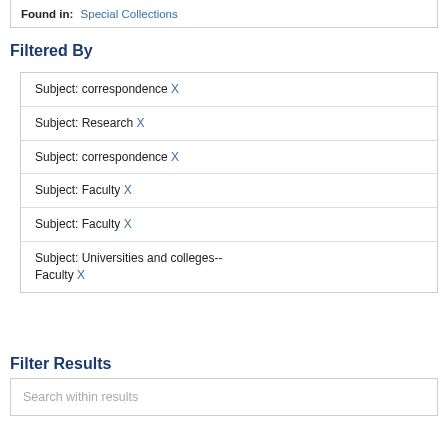Found in: Special Collections
Filtered By
Subject: correspondence X
Subject: Research X
Subject: correspondence X
Subject: Faculty X
Subject: Faculty X
Subject: Universities and colleges--Faculty X
Filter Results
Search within results